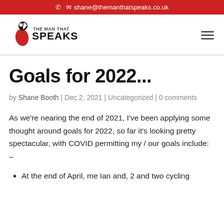✆ ✉ shane@themanthatspeaks.co.uk
[Figure (logo): The Man That Speaks logo — red and black figure with quotation mark, text reads THE MAN THAT SPEAKS]
Goals for 2022...
by Shane Booth | Dec 2, 2021 | Uncategorized | 0 comments
As we're nearing the end of 2021, I've been applying some thought around goals for 2022, so far it's looking pretty spectacular, with COVID permitting my / our goals include: –
At the end of April, me Ian and, 2 and two cycling